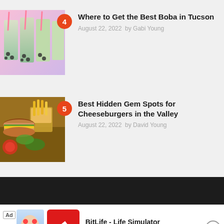4 – Where to Get the Best Boba in Tucson – August 22, 2022 by Gabi Young
5 – Best Hidden Gem Spots for Cheeseburgers in the Valley – August 22, 2022 by David Young